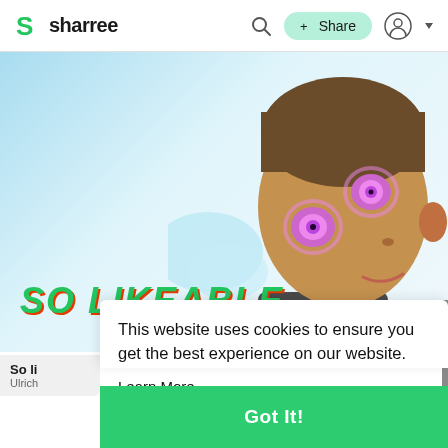sharree — navigation bar with logo, search, + Share button, user icon
[Figure (photo): Screenshot of Sharree website showing a young person with glowing pink/purple eyes tilting their head, sky-blue background on left, partially visible text 'SO LIKEABLE' in green with red shadow at bottom of image area]
This website uses cookies to ensure you get the best experience on our website.
Learn More
So li... / Ulrich
Got It!